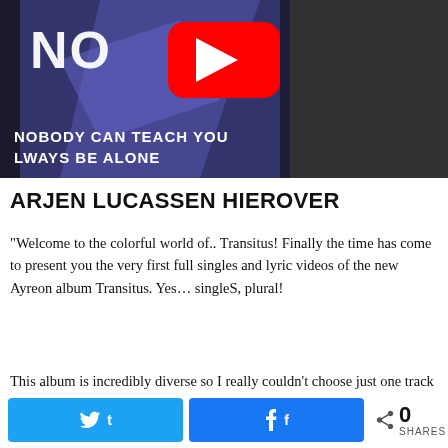[Figure (screenshot): YouTube video thumbnail showing a dark blue/purple stylized image with text 'NOBODY CAN TEACH YOU ALWAYS BE ALONE' and a YouTube play button in the center]
ARJEN LUCASSEN HIEROVER
“Welcome to the colorful world of.. Transitus! Finally the time has come to present you the very first full singles and lyric videos of the new Ayreon album Transitus. Yes… singleS, plural!
This album is incredibly diverse so I really couldn’t choose just one track because I wouldn’t
0 SHARES (with Twitter and Facebook share buttons)